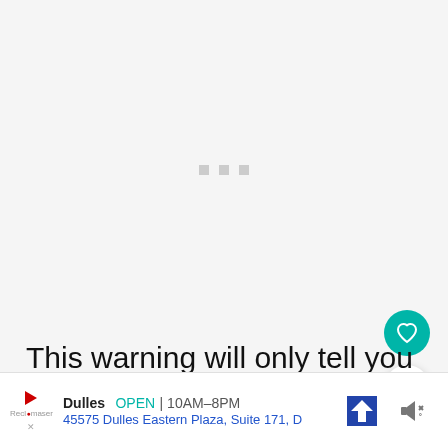[Figure (other): Loading placeholder area with three small gray squares centered, representing a loading/buffering state for content not yet loaded]
This warning will only tell you this information, and not [obscured], whether it be [obscured] be taken
[Figure (other): Circular teal favorite/heart button icon]
[Figure (other): Circular white share button icon with share symbol]
Dulles  OPEN | 10AM–8PM  45575 Dulles Eastern Plaza, Suite 171, D